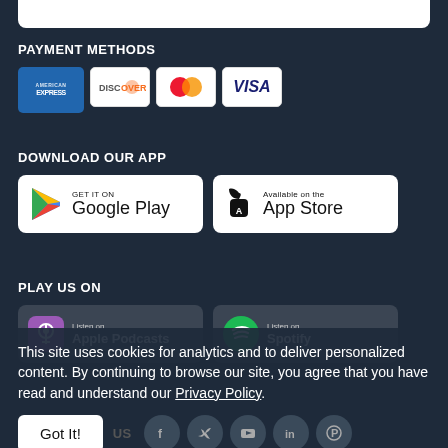PAYMENT METHODS
[Figure (illustration): Payment method logos: American Express, Discover, Mastercard, Visa]
DOWNLOAD OUR APP
[Figure (illustration): Google Play and Apple App Store download buttons]
PLAY US ON
[Figure (illustration): Apple Podcasts and Spotify listen buttons]
This site uses cookies for analytics and to deliver personalized content. By continuing to browse our site, you agree that you have read and understand our Privacy Policy.
Got It!
[Figure (illustration): Social media icons: Facebook, Twitter, YouTube, LinkedIn, Pinterest]